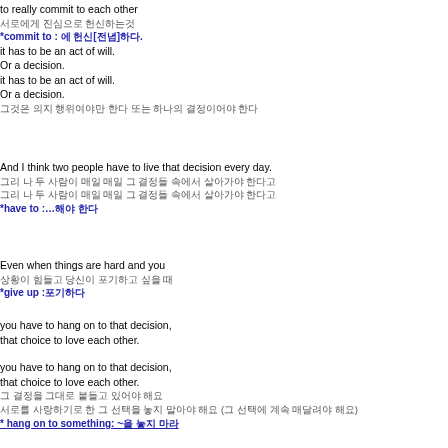to really commit to each other
서로에게 진심으로 헌신하는것
*commit to : 에 헌신[전념]하다.
it has to be an act of will.
Or a decision.
it has to be an act of will.
Or a decision.
그것은 의지 행위여야만 한다 또는 하나의 결정이어야 한다
And I think two people have to live that decision every day.
그리 나 두 사람이 매일 매일 그 결정들 속에서 살아가야 한다고
그리 나 두 사람이 매일 매일 그 결정들 속에서 살아가야 한다고
*have to :…해야 한다
Even when things are hard and you
상황이 힘들고 당신이 포기하고 싶을 때
*give up :포기하다
you have to hang on to that decision, that choice to love each other.
you have to hang on to that decision, that choice to love each other.
그 결정을 그대로 붙들고 있어야 해요
서로를 사랑하기로 한 그 선택을 놓지 말아야 해요 (그 선택에 계속 매달려야 해요)
* hang on to something: ~을 놓지 마라